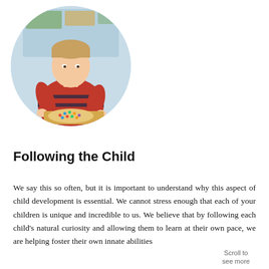[Figure (photo): A young boy in a red and navy striped long-sleeve shirt leans over a wooden tray, placing or picking up small colorful pegs on a circular pegboard. The background shows a colorful classroom map. The image is cropped in a circle.]
Following the Child
We say this so often, but it is important to understand why this aspect of child development is essential. We cannot stress enough that each of your children is unique and incredible to us. We believe that by following each child's natural curiosity and allowing them to learn at their own pace, we are helping foster their own innate abilities...